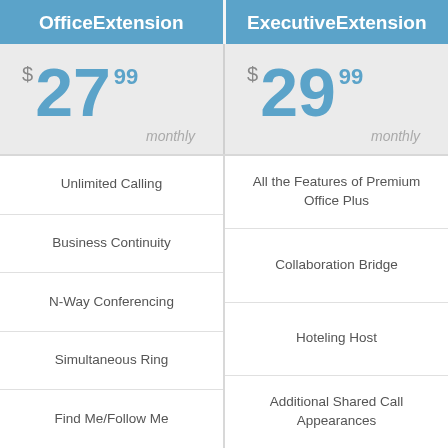OfficeExtension
ExecutiveExtension
$27.99 monthly
$29.99 monthly
Unlimited Calling
All the Features of Premium Office Plus
Business Continuity
Collaboration Bridge
N-Way Conferencing
Hoteling Host
Simultaneous Ring
Additional Shared Call Appearances
Find Me/Follow Me